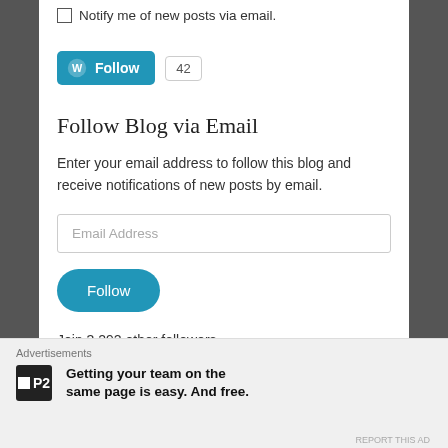Notify me of new posts via email.
[Figure (other): WordPress Follow button with count badge showing 42]
Follow Blog via Email
Enter your email address to follow this blog and receive notifications of new posts by email.
[Figure (other): Email Address input field (text box)]
[Figure (other): Follow button (blue rounded pill button)]
Join 3,292 other followers
Advertisements
[Figure (other): P2 advertisement: Getting your team on the same page is easy. And free.]